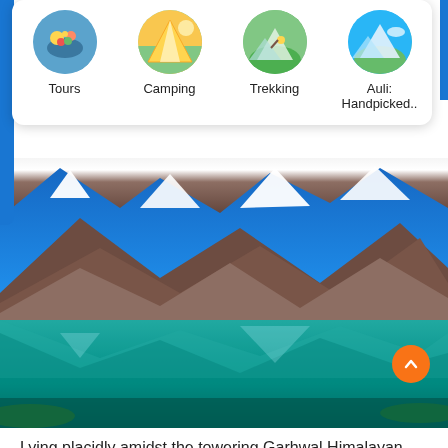[Figure (screenshot): Navigation card with four circular icons: Tours, Camping, Trekking, Auli: Handpicked..]
[Figure (photo): Scenic mountain lake photo showing Chenab Lake with snow-capped Garhwal Himalayan peaks reflected in turquoise water]
Lying placidly amidst the towering Garhwal Himalayan mountain ranges in Dang village, Chenab Lake is one of the very few offbeat places in Uttarakhand where Nature still exists in its virgin form.
Many popular trekking trails have Chenab Lake as their origin. The